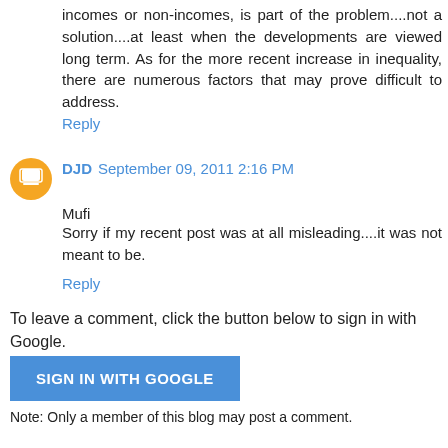incomes or non-incomes, is part of the problem....not a solution....at least when the developments are viewed long term. As for the more recent increase in inequality, there are numerous factors that may prove difficult to address.
Reply
DJD September 09, 2011 2:16 PM
Mufi
Sorry if my recent post was at all misleading....it was not meant to be.
Reply
To leave a comment, click the button below to sign in with Google.
SIGN IN WITH GOOGLE
Note: Only a member of this blog may post a comment.